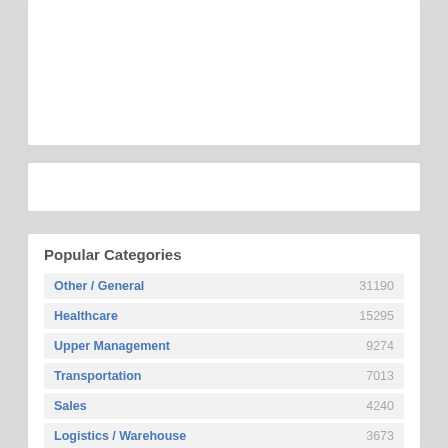Popular Categories
| Category | Count |
| --- | --- |
| Other / General | 31190 |
| Healthcare | 15295 |
| Upper Management | 9274 |
| Transportation | 7013 |
| Sales | 4240 |
| Logistics / Warehouse | 3673 |
| Mechanical / Maintenance | 3582 |
| Customer Service | 3237 |
| Accounting / Finances | 2787 |